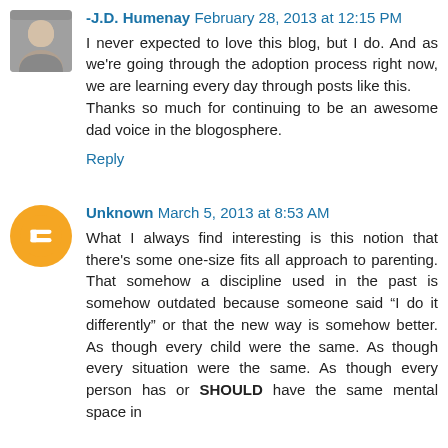-J.D. Humenay February 28, 2013 at 12:15 PM
I never expected to love this blog, but I do. And as we're going through the adoption process right now, we are learning every day through posts like this.
Thanks so much for continuing to be an awesome dad voice in the blogosphere.
Reply
Unknown March 5, 2013 at 8:53 AM
What I always find interesting is this notion that there's some one-size fits all approach to parenting. That somehow a discipline used in the past is somehow outdated because someone said “I do it differently” or that the new way is somehow better. As though every child were the same. As though every situation were the same. As though every person has or SHOULD have the same mental space in